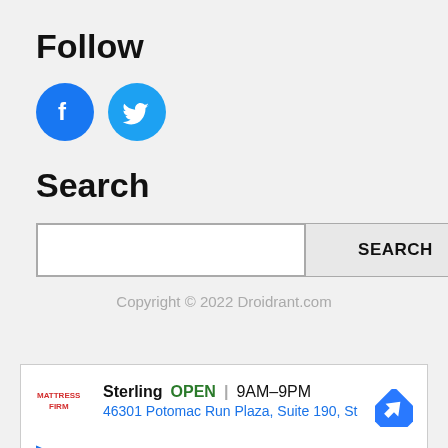Follow
[Figure (logo): Facebook and Twitter social media icon circles (blue circles with white Facebook 'f' and Twitter bird logos)]
Search
[Figure (screenshot): Search input box and SEARCH button side by side]
Copyright © 2022 Droidrant.com
[Figure (other): Mattress Firm advertisement: Sterling OPEN 9AM-9PM, 46301 Potomac Run Plaza, Suite 190, St — with Mattress Firm logo and navigation arrow icon]